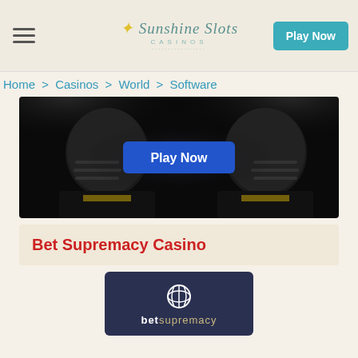Sunshine Slots Casinos — Play Now
Home > Casinos > World > Software
[Figure (photo): Banner image with two mirrored American football players in black helmets on a dark background, with a blue 'Play Now' button in the center]
Bet Supremacy Casino
[Figure (logo): Bet Supremacy casino logo on dark navy background with circular globe icon and 'betsupremacy' text in beige/white]